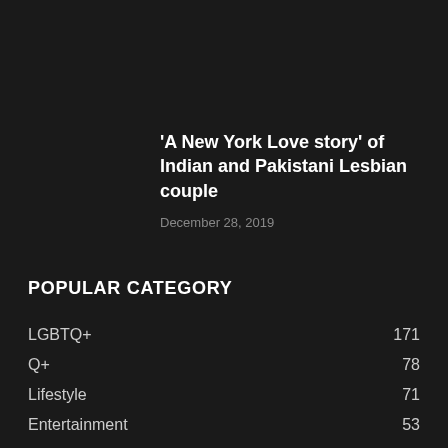'A New York Love story' of Indian and Pakistani Lesbian couple
December 28, 2019
POPULAR CATEGORY
LGBTQ+   171
Q+   78
Lifestyle   71
Entertainment   53
Gay   42
Lesbian   32
Transgender   22